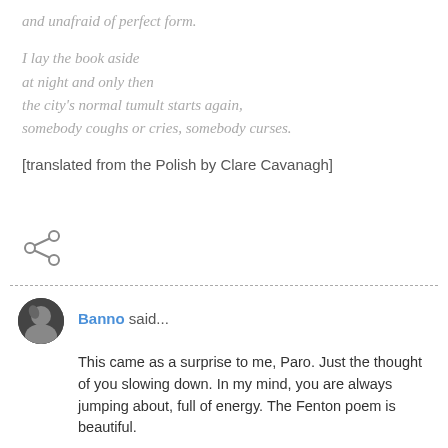and unafraid of perfect form.
I lay the book aside
at night and only then
the city's normal tumult starts again,
somebody coughs or cries, somebody curses.
[translated from the Polish by Clare Cavanagh]
[Figure (illustration): Share icon (less-than symbol style share button)]
Banno said...
This came as a surprise to me, Paro. Just the thought of you slowing down. In my mind, you are always jumping about, full of energy. The Fenton poem is beautiful.
January 14, 2008 at 9:19 PM